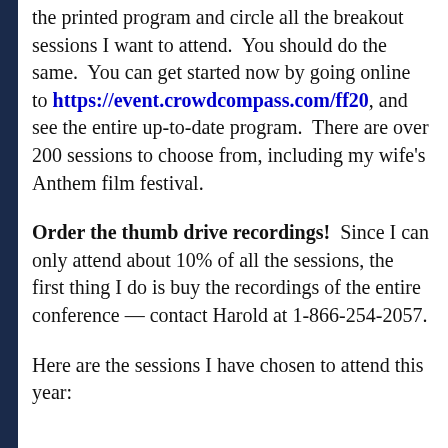the printed program and circle all the breakout sessions I want to attend.  You should do the same.  You can get started now by going online to https://event.crowdcompass.com/ff20, and see the entire up-to-date program.  There are over 200 sessions to choose from, including my wife's Anthem film festival.
Order the thumb drive recordings!  Since I can only attend about 10% of all the sessions, the first thing I do is buy the recordings of the entire conference — contact Harold at 1-866-254-2057.
Here are the sessions I have chosen to attend this year: